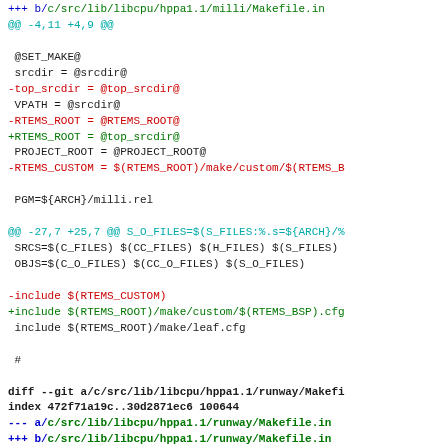+++ b/c/src/lib/libcpu/hppa1.1/milli/Makefile.in
@@ -4,11 +4,9 @@

 @SET_MAKE@
 srcdir = @srcdir@
-top_srcdir = @top_srcdir@
 VPATH = @srcdir@
-RTEMS_ROOT = @RTEMS_ROOT@
+RTEMS_ROOT = @top_srcdir@
 PROJECT_ROOT = @PROJECT_ROOT@
-RTEMS_CUSTOM = $(RTEMS_ROOT)/make/custom/$(RTEMS_B

 PGM=${ARCH}/milli.rel

@@ -27,7 +25,7 @@ S_O_FILES=$(S_FILES:%.s=${ARCH}/%
 SRCS=$(C_FILES) $(CC_FILES) $(H_FILES) $(S_FILES)
 OBJS=$(C_O_FILES) $(CC_O_FILES) $(S_O_FILES)

-include $(RTEMS_CUSTOM)
+include $(RTEMS_ROOT)/make/custom/$(RTEMS_BSP).cfg
 include $(RTEMS_ROOT)/make/leaf.cfg

 #

diff --git a/c/src/lib/libcpu/hppa1.1/runway/Makefile.in
index 472f71a19c..30d2871ec6 100644
--- a/c/src/lib/libcpu/hppa1.1/runway/Makefile.in
+++ b/c/src/lib/libcpu/hppa1.1/runway/Makefile.in
@@ -4,18 +4,16 @@

 @SET_MAKE@